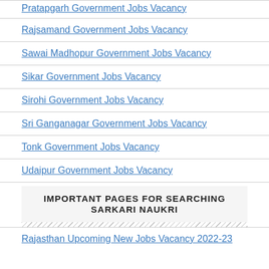Pratapgarh Government Jobs Vacancy
Rajsamand Government Jobs Vacancy
Sawai Madhopur Government Jobs Vacancy
Sikar Government Jobs Vacancy
Sirohi Government Jobs Vacancy
Sri Ganganagar Government Jobs Vacancy
Tonk Government Jobs Vacancy
Udaipur Government Jobs Vacancy
IMPORTANT PAGES FOR SEARCHING SARKARI NAUKRI
Rajasthan Upcoming New Jobs Vacancy 2022-23